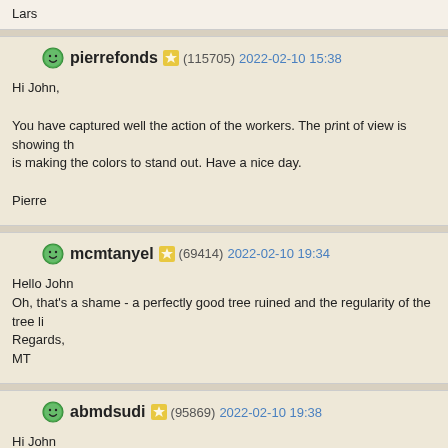Lars
pierrefonds (115705) 2022-02-10 15:38

Hi John,

You have captured well the action of the workers. The point of view is showing the scene. The light is making the colors to stand out. Have a nice day.

Pierre
mcmtanyel (69414) 2022-02-10 19:34

Hello John
Oh, that's a shame - a perfectly good tree ruined and the regularity of the tree line...
Regards,
MT
abmdsudi (95869) 2022-02-10 19:38

Hi John
That's well and truly uprooted, a beautifully captured scene but it's always sad to see... converging trees makes for good viewing and there's a feeling you are right in the frame. Good detail and depth. Excellent shot